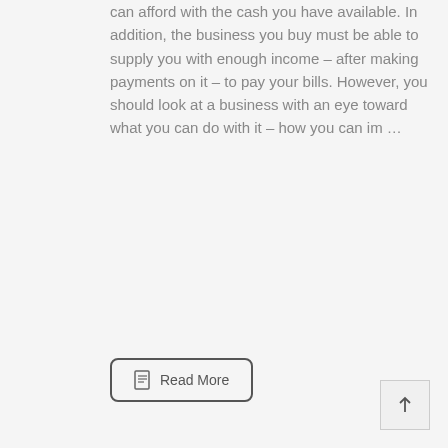can afford with the cash you have available. In addition, the business you buy must be able to supply you with enough income – after making payments on it – to pay your bills. However, you should look at a business with an eye toward what you can do with it – how you can im …
Read More